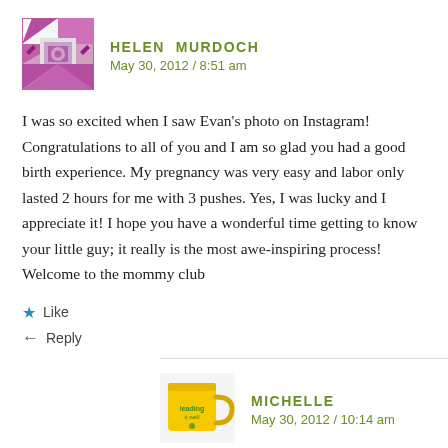[Figure (illustration): Purple/pink mosaic/quilt avatar icon for Helen Murdoch]
HELEN MURDOCH
May 30, 2012 / 8:51 am
I was so excited when I saw Evan's photo on Instagram! Congratulations to all of you and I am so glad you had a good birth experience. My pregnancy was very easy and labor only lasted 2 hours for me with 3 pushes. Yes, I was lucky and I appreciate it! I hope you have a wonderful time getting to know your little guy; it really is the most awe-inspiring process! Welcome to the mommy club
Like
Reply
[Figure (photo): Yellow coffee mug with green text/logo, avatar for Michelle]
MICHELLE
May 30, 2012 / 10:14 am
That is amazing. Lucky you!